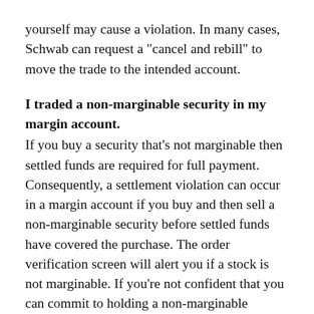yourself may cause a violation. In many cases, Schwab can request a "cancel and rebill" to move the trade to the intended account.
I traded a non-marginable security in my margin account.
If you buy a security that's not marginable then settled funds are required for full payment. Consequently, a settlement violation can occur in a margin account if you buy and then sell a non-marginable security before settled funds have covered the purchase. The order verification screen will alert you if a stock is not marginable. If you're not confident that you can commit to holding a non-marginable security